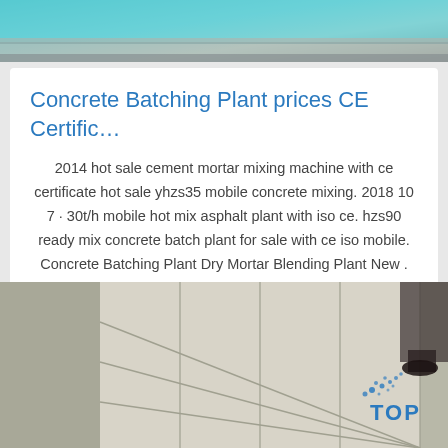[Figure (photo): Top portion of an image showing a tiled surface near a pool with blue water visible]
Concrete Batching Plant prices CE Certific…
2014 hot sale cement mortar mixing machine with ce certificate hot sale yhzs35 mobile concrete mixing. 2018 10 7 · 30t/h mobile hot mix asphalt plant with iso ce. hzs90 ready mix concrete batch plant for sale with ce iso mobile. Concrete Batching Plant Dry Mortar Blending Plant New . mobile dry mix mortar production plants mixing machine at ...
Get Price
[Figure (photo): Bottom image showing large white concrete or stone tiles laid on a grey concrete floor, with a person's feet visible and a TOP brand watermark logo in the bottom right corner]